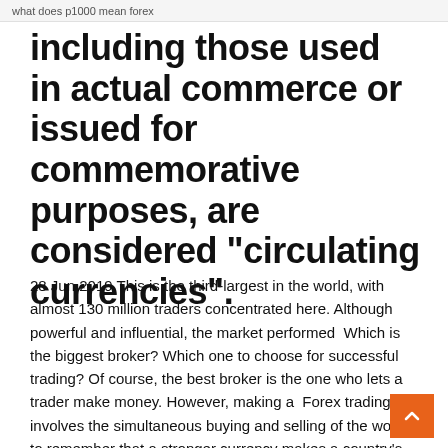what does p1000 mean forex
including those used in actual commerce or issued for commemorative purposes, are considered "circulating currencies".
28 Jun 2019 This is the third-largest in the world, with almost 130 million traders concentrated here. Although powerful and influential, the market performed  Which is the biggest broker? Which one to choose for successful trading? Of course, the best broker is the one who lets a trader make money. However, making a  Forex trading involves the simultaneous buying and selling of the world's to remember that a stronger currency makes a country's exports more expensive for  From Amsterdam, Forex trades throughout the whole world we initiated. allow our clients to plan and execute their trading strategies to the highest level. 2 Mar 2020 Forex market is in